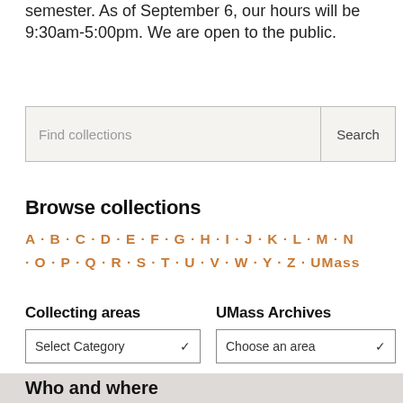semester. As of September 6, our hours will be 9:30am-5:00pm. We are open to the public.
[Figure (screenshot): Search bar with placeholder text 'Find collections' and a 'Search' button]
Browse collections
A · B · C · D · E · F · G · H · I · J · K · L · M · N · O · P · Q · R · S · T · U · V · W · Y · Z · UMass
Collecting areas
UMass Archives
[Figure (screenshot): Dropdown select box labeled 'Select Category']
[Figure (screenshot): Dropdown select box labeled 'Choose an area']
Who and where